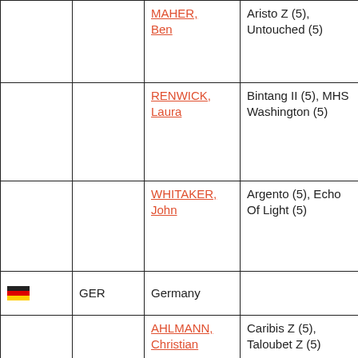|  |  | Rider | Horses |
| --- | --- | --- | --- |
|  |  | MAHER, Ben | Aristo Z (5), Untouched (5) |
|  |  | RENWICK, Laura | Bintang II (5), MHS Washington (5) |
|  |  | WHITAKER, John | Argento (5), Echo Of Light (5) |
| [Germany flag] | GER | Germany |  |
|  |  | AHLMANN, Christian | Caribis Z (5), Taloubet Z (5) |
|  |  | BEERBAUM, | Chaman (5), Cool Down |